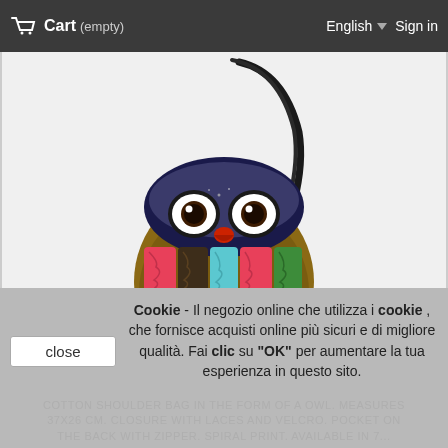Cart (empty)   English   Sign in
[Figure (photo): Colorful owl-shaped shoulder bag with patchwork fabric body, large round eyes, red beak, dark top section, long black strap, displayed on white background]
Cookie - Il negozio online che utilizza i cookie , che fornisce acquisti online più sicuri e di migliore qualità. Fai clic su "OK" per aumentare la tua esperienza in questo sito.
COTTON SHOULDER BAG IN THE FORM OF A OWL. MEASURES 37X26 CM. CLOSURE WITH LACES AND VELCRO. POCKET ON THE BACK WITH ZIPPER. SPIRAL PRINT. AVAILABLE IN 7...